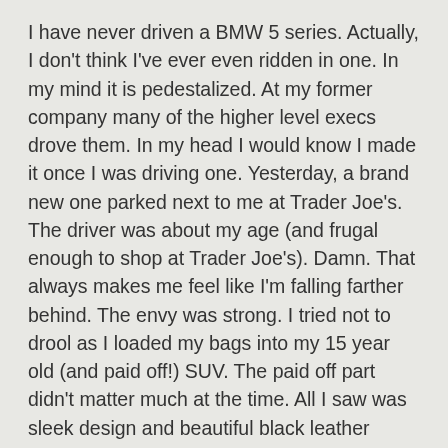I have never driven a BMW 5 series.  Actually, I don't think I've ever even ridden in one.  In my mind it is pedestalized.  At my former company many of the higher level execs drove them.  In my head I would know I made it once I was driving one.  Yesterday, a brand new one parked next to me at Trader Joe's.  The driver was about my age (and frugal enough to shop at Trader Joe's).  Damn.  That always makes me feel like I'm falling farther behind.  The envy was strong.  I tried not to drool as I loaded my bags into my 15 year old (and paid off!) SUV.  The paid off part didn't matter much at the time.  All I saw was sleek design and beautiful black leather seats.
The envy crept in, then the sadness that the likelihood of me ever having a 5 series is about as good as winning the lottery because that's the only time I